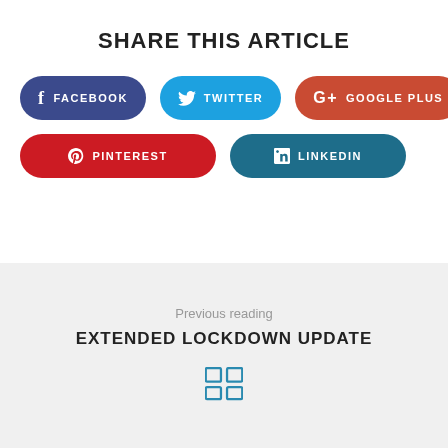SHARE THIS ARTICLE
[Figure (infographic): Social media share buttons: Facebook (dark blue), Twitter (cyan), Google Plus (red-orange), Pinterest (red), LinkedIn (teal)]
Previous reading
EXTENDED LOCKDOWN UPDATE
[Figure (other): Grid/squares icon in blue at bottom center]